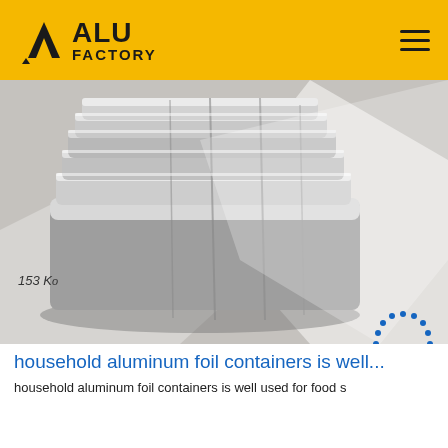ALU FACTORY
[Figure (photo): Close-up photograph of stacked shiny aluminum foil rolls/coils with label '153 Ko' visible, wrapped in white protective sheeting]
household aluminum foil containers is well...
household aluminum foil containers is well used for food s